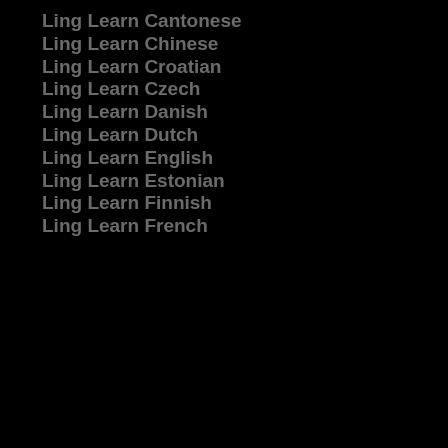Ling Learn Cantonese
Ling Learn Chinese
Ling Learn Croatian
Ling Learn Czech
Ling Learn Danish
Ling Learn Dutch
Ling Learn English
Ling Learn Estonian
Ling Learn Finnish
Ling Learn French